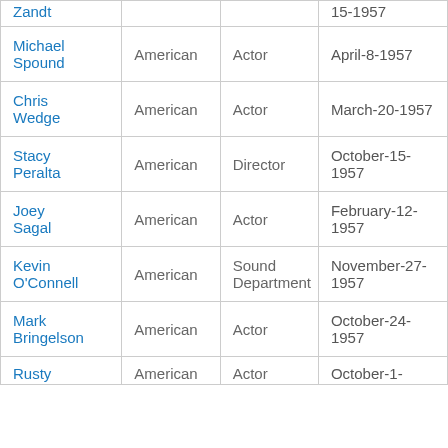| Name | Nationality | Role | Birth Date |
| --- | --- | --- | --- |
| Zandt |  |  | 15-1957 |
| Michael Spound | American | Actor | April-8-1957 |
| Chris Wedge | American | Actor | March-20-1957 |
| Stacy Peralta | American | Director | October-15-1957 |
| Joey Sagal | American | Actor | February-12-1957 |
| Kevin O'Connell | American | Sound Department | November-27-1957 |
| Mark Bringelson | American | Actor | October-24-1957 |
| Rusty | American | Actor | October-1- |